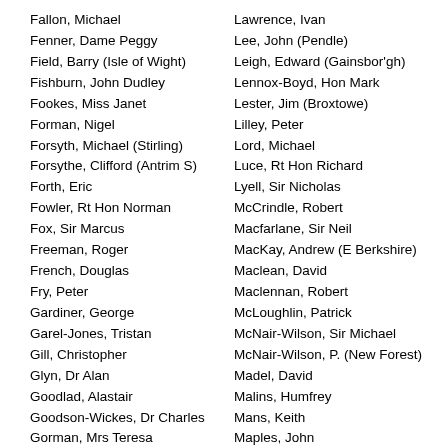Fallon, Michael
Fenner, Dame Peggy
Field, Barry (Isle of Wight)
Fishburn, John Dudley
Fookes, Miss Janet
Forman, Nigel
Forsyth, Michael (Stirling)
Forsythe, Clifford (Antrim S)
Forth, Eric
Fowler, Rt Hon Norman
Fox, Sir Marcus
Freeman, Roger
French, Douglas
Fry, Peter
Gardiner, George
Garel-Jones, Tristan
Gill, Christopher
Glyn, Dr Alan
Goodlad, Alastair
Goodson-Wickes, Dr Charles
Gorman, Mrs Teresa
Gow, Ian
Gower, Sir Raymond
Lawrence, Ivan
Lee, John (Pendle)
Leigh, Edward (Gainsbor'gh)
Lennox-Boyd, Hon Mark
Lester, Jim (Broxtowe)
Lilley, Peter
Lord, Michael
Luce, Rt Hon Richard
Lyell, Sir Nicholas
McCrindle, Robert
Macfarlane, Sir Neil
MacKay, Andrew (E Berkshire)
Maclean, David
Maclennan, Robert
McLoughlin, Patrick
McNair-Wilson, Sir Michael
McNair-Wilson, P. (New Forest)
Madel, David
Malins, Humfrey
Mans, Keith
Maples, John
Marland, Paul
Marshall, John (Hendon S)